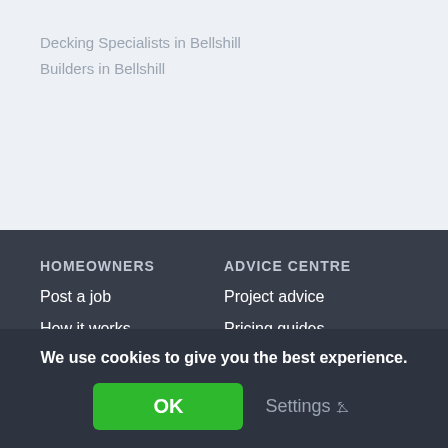Decking Specialists in Bellshill
Builders in Bellshill
HOMEOWNERS
ADVICE CENTRE
Post a job
Project advice
How it works
Pricing guides
Find trades
Hiring advice
Homeowner support
Ask a tradesperson
We use cookies to give you the best experience.
OK
Settings